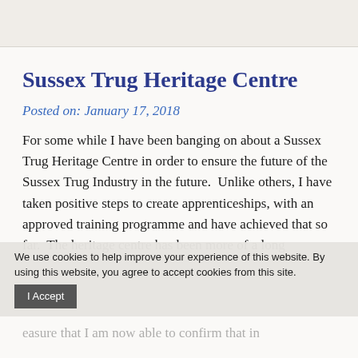[Figure (screenshot): Top navigation/header area of a website, partially visible, light beige background with faint UI elements]
Sussex Trug Heritage Centre
Posted on: January 17, 2018
For some while I have been banging on about a Sussex Trug Heritage Centre in order to ensure the future of the Sussex Trug Industry in the future.  Unlike others, I have taken positive steps to create apprenticeships, with an approved training programme and have achieved that so far.  The heritage centre has been more of a long
We use cookies to help improve your experience of this website. By using this website, you agree to accept cookies from this site.
I Accept
easure that I am now able to confirm that in